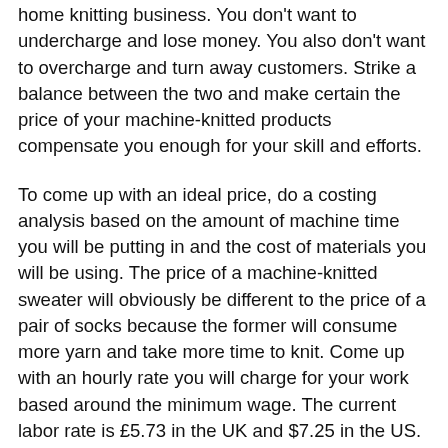home knitting business. You don't want to undercharge and lose money. You also don't want to overcharge and turn away customers. Strike a balance between the two and make certain the price of your machine-knitted products compensate you enough for your skill and efforts.
To come up with an ideal price, do a costing analysis based on the amount of machine time you will be putting in and the cost of materials you will be using. The price of a machine-knitted sweater will obviously be different to the price of a pair of socks because the former will consume more yarn and take more time to knit. Come up with an hourly rate you will charge for your work based around the minimum wage. The current labor rate is £5.73 in the UK and $7.25 in the US.